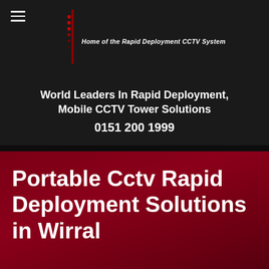[Figure (logo): Navigation menu icon (hamburger) and site logo area with red decorative dots and italic white subtitle text: Home of the Rapid Deployment CCTV System]
Home of the Rapid Deployment CCTV System
World Leaders In Rapid Deployment, Mobile CCTV Tower Solutions
0151 200 1999
Portable Cctv Rapid Deployment Solutions in Wirral